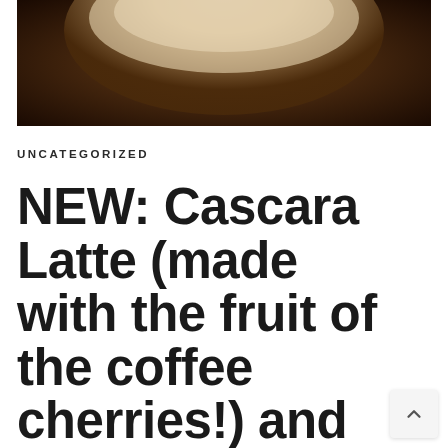[Figure (photo): Close-up photo of a coffee drink in a dark cup, viewed from above, showing a light cream/foam surface against a dark brown background]
UNCATEGORIZED
NEW: Cascara Latte (made with the fruit of the coffee cherries!) and the Smoked Butterscotch Latte